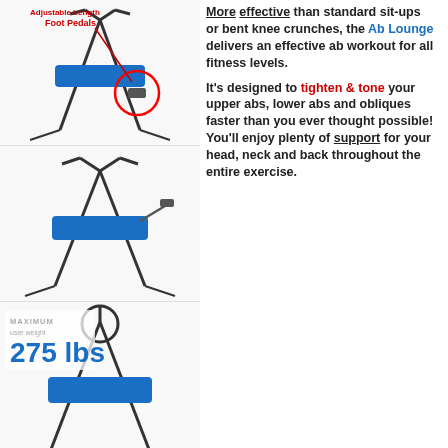[Figure (photo): Ab Lounge exercise machine shown in three positions from different angles, with a red circle highlighting the adjustable length foot pedals area, on a white background. Text overlay at top left reads 'Adjustable Length Foot Pedals' in red bold. Bottom image has 'MAXIMUM user weight 275 lbs' overlay.]
More effective than standard sit-ups or bent knee crunches, the Ab Lounge delivers an effective ab workout for all fitness levels.

It's designed to tighten & tone your upper abs, lower abs and obliques faster than you ever thought possible! You'll enjoy plenty of support for your head, neck and back throughout the entire exercise.
Where can I buy replacement parts for my Ab Lounge. National Car Rental: